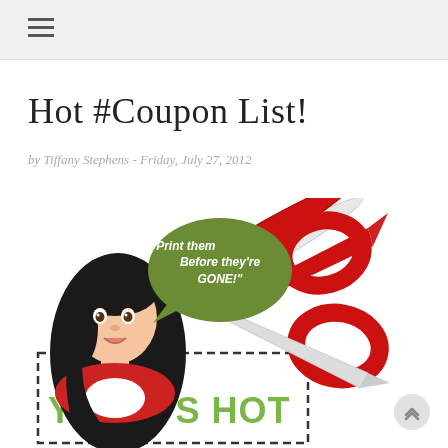≡ (hamburger menu icon)
Hot #Coupon List!
by Tiffany Stephens - Friday, July 27, 2012
[Figure (illustration): Cartoon illustration of a dark-haired woman in a red jacket with a speech bubble saying 'Print them Before they're GONE!' next to large red scissors cutting a dashed coupon border with 'YW&M'S HOT' text in green at the bottom.]